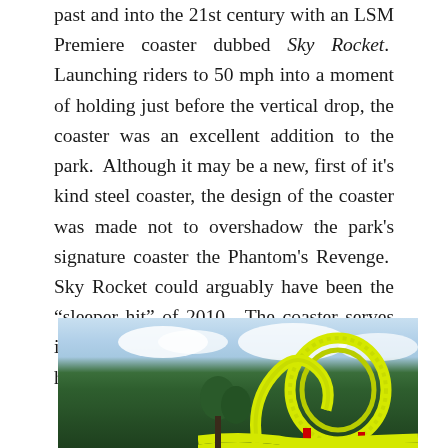past and into the 21st century with an LSM Premiere coaster dubbed Sky Rocket. Launching riders to 50 mph into a moment of holding just before the vertical drop, the coaster was an excellent addition to the park. Although it may be a new, first of it's kind steel coaster, the design of the coaster was made not to overshadow the park's signature coaster the Phantom's Revenge. Sky Rocket could arguably have been the “sleeper hit” of 2010. The coaster serves it's duty as a supporting coaster to this historic amusement park.
[Figure (photo): Outdoor photo showing yellow roller coaster loop/track structures rising above green trees against a partly cloudy blue sky. The coaster appears to be at an amusement park with bright yellow tubular track sections visible in the lower right.]